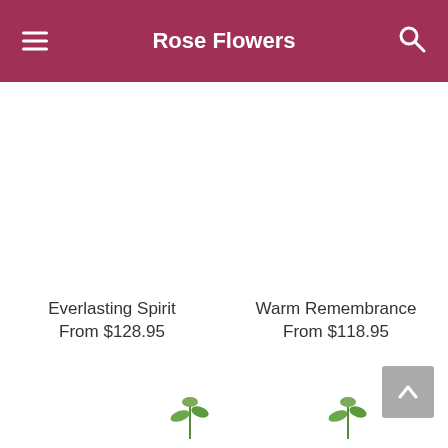Rose Flowers
Everlasting Spirit
From $128.95
Warm Remembrance
From $118.95
[Figure (illustration): Small green plant sprout at bottom left]
[Figure (illustration): Small green plant sprout at bottom right]